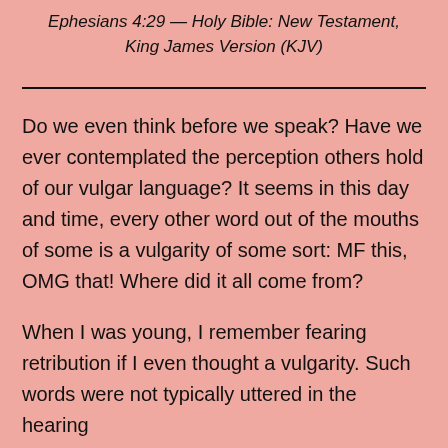Ephesians 4:29 — Holy Bible: New Testament, King James Version (KJV)
Do we even think before we speak? Have we ever contemplated the perception others hold of our vulgar language? It seems in this day and time, every other word out of the mouths of some is a vulgarity of some sort: MF this, OMG that! Where did it all come from?
When I was young, I remember fearing retribution if I even thought a vulgarity. Such words were not typically uttered in the hearing